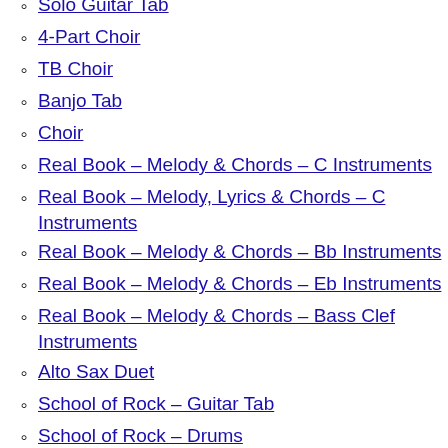Solo Guitar Tab
4-Part Choir
TB Choir
Banjo Tab
Choir
Real Book – Melody & Chords – C Instruments
Real Book – Melody, Lyrics & Chords – C Instruments
Real Book – Melody & Chords – Bb Instruments
Real Book – Melody & Chords – Eb Instruments
Real Book – Melody & Chords – Bass Clef Instruments
Alto Sax Duet
School of Rock – Guitar Tab
School of Rock – Drums
Choir Instrumental Pak
School of Rock – Keys
School of Rock – Vocal
School of Rock – Bass Guitar
Oboe Solo
Bassoon Solo
Really Easy Guitar
E-Z Play Today
Alto Sax and Piano
String Quartet